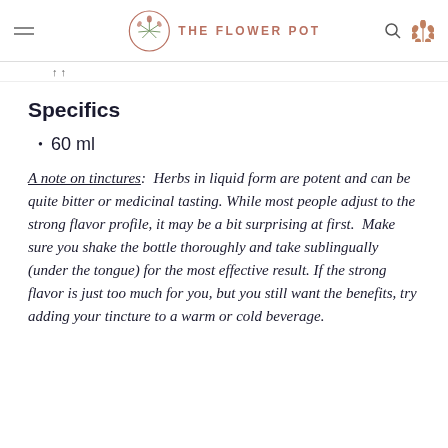THE FLOWER POT
↑↑
Specifics
60 ml
A note on tinctures:  Herbs in liquid form are potent and can be quite bitter or medicinal tasting. While most people adjust to the strong flavor profile, it may be a bit surprising at first.  Make sure you shake the bottle thoroughly and take sublingually  (under the tongue) for the most effective result. If the strong flavor is just too much for you, but you still want the benefits, try adding your tincture to a warm or cold beverage.